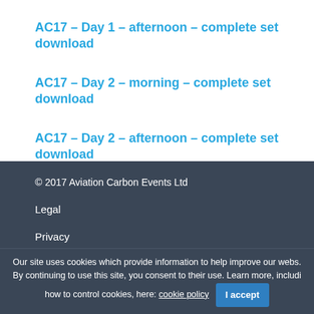AC17 – Day 1 – afternoon – complete set download
AC17 – Day 2 – morning – complete set download
AC17 – Day 2 – afternoon – complete set download
© 2017 Aviation Carbon Events Ltd
Legal
Privacy
Use of Cookies
Our site uses cookies which provide information to help improve our webs. By continuing to use this site, you consent to their use. Learn more, includi how to control cookies, here: cookie policy   I accept